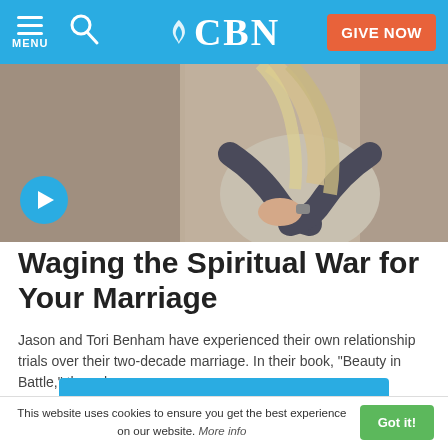MENU | Search | CBN | GIVE NOW
[Figure (photo): A couple embracing, woman with long blonde hair in a beige sweater, man in dark shirt hugging her from behind, with a video play button overlay in bottom left corner.]
Waging the Spiritual War for Your Marriage
Jason and Tori Benham have experienced their own relationship trials over their two-decade marriage. In their book, “Beauty in Battle,” they share…
ALL VIDEOS ON MARRIAGE
This website uses cookies to ensure you get the best experience on our website. More info   Got it!